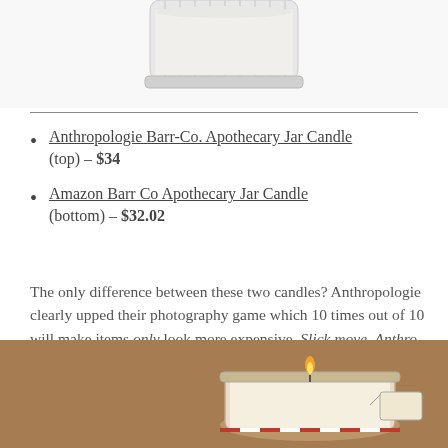[Figure (photo): Top portion of a glass jar candle with white wax visible, cropped at top of page]
Anthropologie Barr-Co. Apothecary Jar Candle (top) – $34
Amazon Barr Co Apothecary Jar Candle (bottom) – $32.02
The only difference between these two candles? Anthropologie clearly upped their photography game which 10 times out of 10 will make items only look more expensive. Slick move, Anthro. ☺
[Figure (photo): A lit Barr Co apothecary jar candle with a flame, red and white twine and a tag, on a warm brown background]